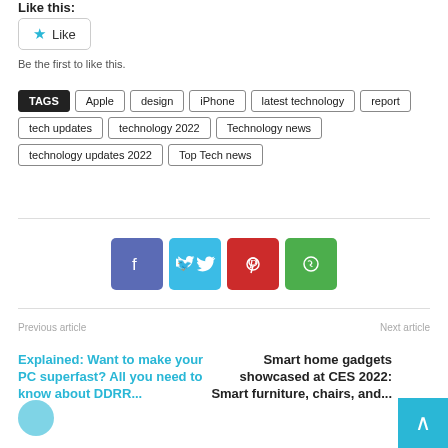Like this:
★ Like
Be the first to like this.
TAGS | Apple | design | iPhone | latest technology | report | tech updates | technology 2022 | Technology news | technology updates 2022 | Top Tech news
[Figure (infographic): Social share buttons: Facebook (blue), Twitter (light blue), Pinterest (red), WhatsApp (green)]
Previous article
Next article
Explained: Want to make your PC superfast? All you need to know about DDRR...
Smart home gadgets showcased at CES 2022: Smart furniture, chairs, and...